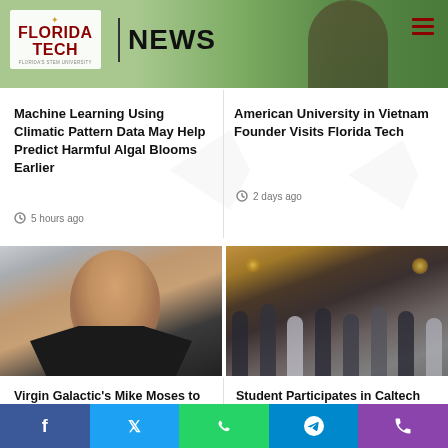[Figure (screenshot): Florida Tech News website header with logo, green foliage background, and hamburger menu icon]
Machine Learning Using Climatic Pattern Data May Help Predict Harmful Algal Blooms Earlier
5 hours ago
American University in Vietnam Founder Visits Florida Tech
2 days ago
[Figure (photo): Headshot of a middle-aged man with light hair wearing a dark shirt]
[Figure (photo): Group photo of approximately 20 people at an event, standing in a room with warm lighting]
Virgin Galactic's Mike Moses to Headline Smith Distinguished Lecture Sept. 22
Student Participates in Caltech Space Challenge
1 week ago